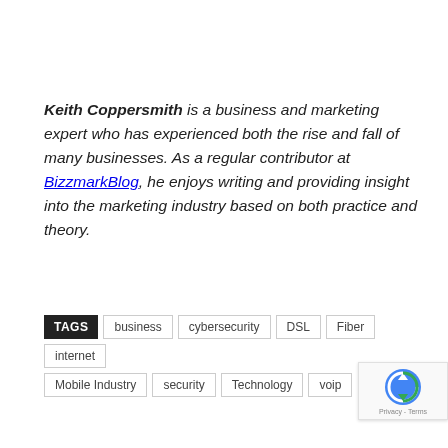Keith Coppersmith is a business and marketing expert who has experienced both the rise and fall of many businesses. As a regular contributor at BizzmarkBlog, he enjoys writing and providing insight into the marketing industry based on both practice and theory.
TAGS: business, cybersecurity, DSL, Fiber, internet, Mobile Industry, security, Technology, voip